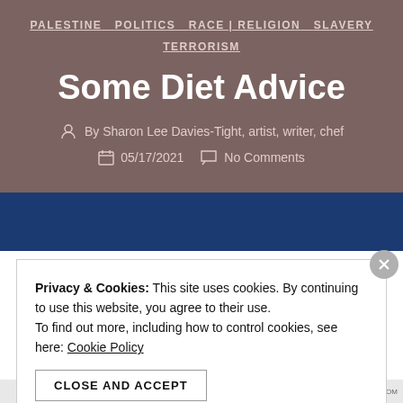PALESTINE  POLITICS  RACE | RELIGION  SLAVERY  TERRORISM
Some Diet Advice
By Sharon Lee Davies-Tight, artist, writer, chef
05/17/2021  No Comments
Privacy & Cookies: This site uses cookies. By continuing to use this website, you agree to their use. To find out more, including how to control cookies, see here: Cookie Policy
CLOSE AND ACCEPT